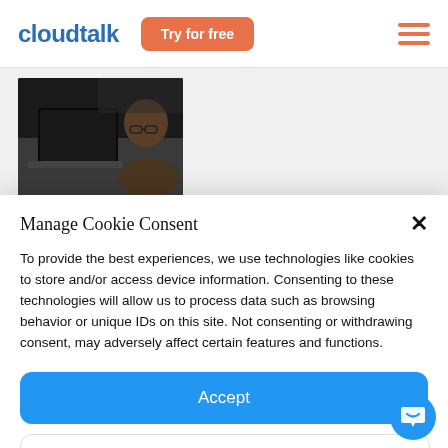cloudtalk — Try for free
[Figure (photo): A person using a laptop computer in a dark environment, viewed from the side.]
Manage Cookie Consent
To provide the best experiences, we use technologies like cookies to store and/or access device information. Consenting to these technologies will allow us to process data such as browsing behavior or unique IDs on this site. Not consenting or withdrawing consent, may adversely affect certain features and functions.
Accept
Setup preferences